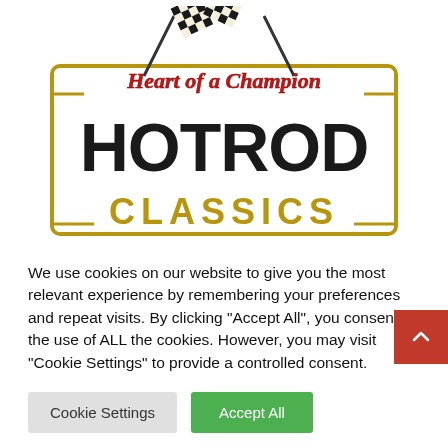[Figure (logo): Heart of a Champion Hot Rod Classics logo with checkered racing flags on top, red script text 'Heart of a Champion', large black bold text 'HOTROD', and gold bold text 'CLASSICS' with a gold banner/border frame]
We use cookies on our website to give you the most relevant experience by remembering your preferences and repeat visits. By clicking "Accept All", you consent to the use of ALL the cookies. However, you may visit "Cookie Settings" to provide a controlled consent.
Cookie Settings
Accept All